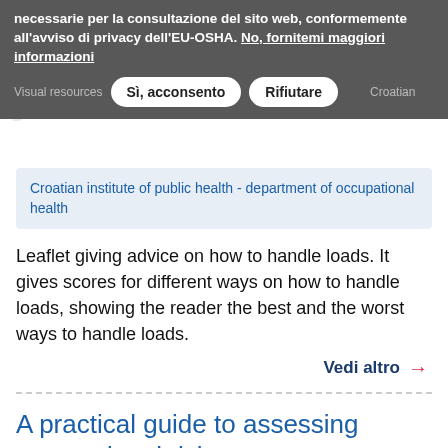necessarie per la consultazione del sito web, conformemente all'avviso di privacy dell'EU-OSHA. No, fornitemi maggiori informazioni
Sì, acconsento   Rifiutare   Visual resources   Croatian
Croatian institute of public health - department of occupational health
Leaflet giving advice on how to handle loads. It gives scores for different ways on how to handle loads, showing the reader the best and the worst ways to handle loads.
Vedi altro →
A practical guide to assessing occupational risks
Guides & Tools   Croazia   Croatian   -
This guideline is developed as a professional